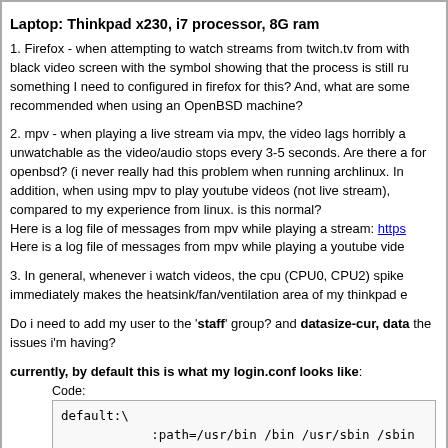Laptop: Thinkpad x230, i7 processor, 8G ram
1. Firefox - when attempting to watch streams from twitch.tv from with black video screen with the symbol showing that the process is still ru something I need to configured in firefox for this? And, what are some recommended when using an OpenBSD machine?
2. mpv - when playing a live stream via mpv, the video lags horribly a unwatchable as the video/audio stops every 3-5 seconds. Are there a for openbsd? (i never really had this problem when running archlinux. In addition, when using mpv to play youtube videos (not live stream), compared to my experience from linux. is this normal?
Here is a log file of messages from mpv while playing a stream: https
Here is a log file of messages from mpv while playing a youtube vide
3. In general, whenever i watch videos, the cpu (CPU0, CPU2) spike immediately makes the heatsink/fan/ventilation area of my thinkpad e
Do i need to add my user to the 'staff' group? and datasize-cur, data the issues i'm having?
currently, by default this is what my login.conf looks like:
Code:
default:\
		:path=/usr/bin /bin /usr/sbin /sbin /us
		:umask=022:\
		:datasize-max=768M:\
		:datasize-cur=768M:\